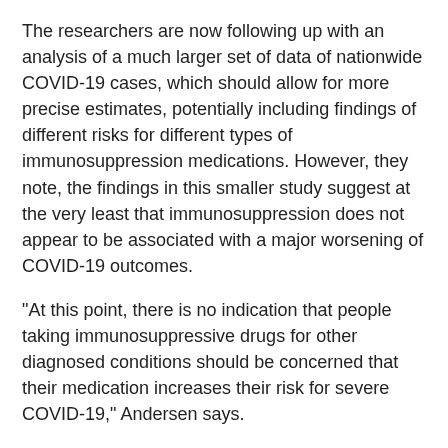The researchers are now following up with an analysis of a much larger set of data of nationwide COVID-19 cases, which should allow for more precise estimates, potentially including findings of different risks for different types of immunosuppression medications. However, they note, the findings in this smaller study suggest at the very least that immunosuppression does not appear to be associated with a major worsening of COVID-19 outcomes.
"At this point, there is no indication that people taking immunosuppressive drugs for other diagnosed conditions should be concerned that their medication increases their risk for severe COVID-19," Andersen says.
###
"Association Between Chronic Use of Immunosuppressive Drugs and Clinical Outcomes from COVID-19 Hospitalization: A Retrospective Cohort Study in a Large U.S. Health System" was written by Kathleen Andersen, Hemalkumar Mehta, Natasha Palamuttam, Daniel Ford, Brian Garibaldi, Paul Auwaerter, Jodi